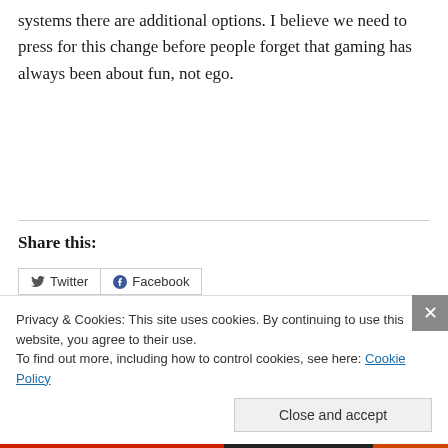systems there are additional options. I believe we need to press for this change before people forget that gaming has always been about fun, not ego.
Share this:
[Figure (other): Social share buttons for Twitter and Facebook]
Privacy & Cookies: This site uses cookies. By continuing to use this website, you agree to their use.
To find out more, including how to control cookies, see here: Cookie Policy
Close and accept